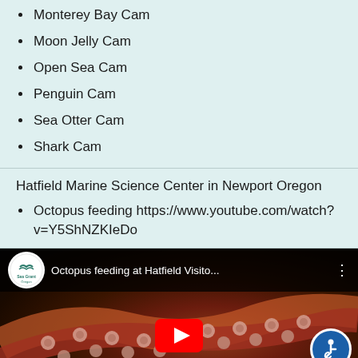Monterey Bay Cam
Moon Jelly Cam
Open Sea Cam
Penguin Cam
Sea Otter Cam
Shark Cam
Hatfield Marine Science Center in Newport Oregon
Octopus feeding https://www.youtube.com/watch?v=Y5ShNZKIeDo
[Figure (screenshot): YouTube video thumbnail showing 'Octopus feeding at Hatfield Visito...' with Sea Grant Oregon logo, octopus tentacle image, play button, and accessibility badge]